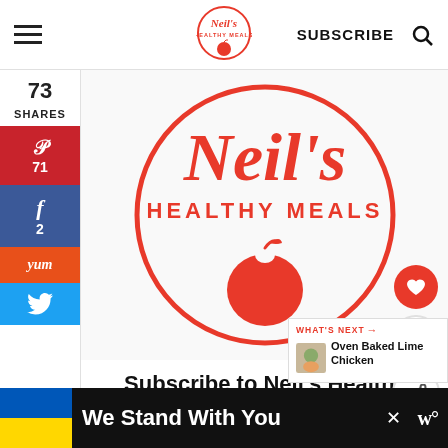[Figure (logo): Neil's Healthy Meals circular logo in navigation bar]
SUBSCRIBE
[Figure (infographic): Social share sidebar with Pinterest 71, Facebook 2, Yummly, Twitter buttons and 73 SHARES count]
[Figure (logo): Neil's Healthy Meals large circular logo with apple icon, red on white background]
Subscribe to Neil's Healthy Meals!
WHAT'S NEXT → Oven Baked Lime Chicken
Get updates on the latest posts and
We Stand With You